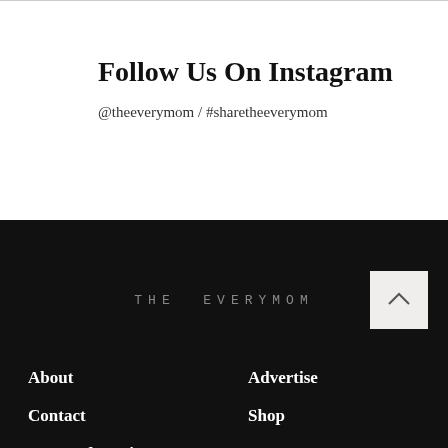Follow Us On Instagram
@theeverymom / #sharetheeverymom
[Figure (logo): THE EVERYMOM wordmark in spaced gray uppercase letters on black background]
About
Advertise
Contact
Shop
Terms of Service